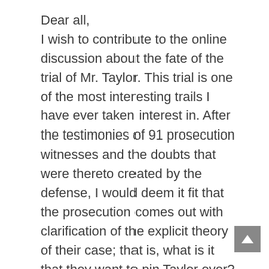Dear all, I wish to contribute to the online discussion about the fate of the trial of Mr. Taylor. This trial is one of the most interesting trails I have ever taken interest in. After the testimonies of 91 prosecution witnesses and the doubts that were thereto created by the defense, I would deem it fit that the prosecution comes out with clarification of the explicit theory of their case; that is, what is it that they want to pin Taylor over? Is it diamond? Political control? Overthrowing the Sierra Leone government? Terrorizing Sierra Leone citizens? Or What? Apparently, my view is that most of the evidences of the